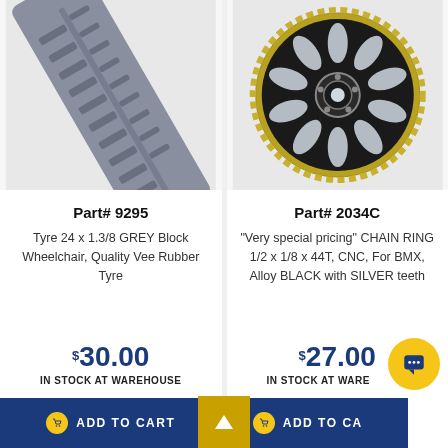[Figure (photo): Close-up photo of a grey bicycle/wheelchair tyre showing tread pattern, angled view]
Part# 9295
Tyre 24 x 1.3/8 GREY Block Wheelchair, Quality Vee Rubber Tyre
$30.00
IN STOCK AT WAREHOUSE
ADD TO CART
[Figure (photo): Photo of a black and silver BMX alloy chain ring sprocket, 44T, CNC machined]
Part# 2034C
"Very special pricing" CHAIN RING 1/2 x 1/8 x 44T, CNC, For BMX, Alloy BLACK with SILVER teeth
$27.00
IN STOCK AT WAREHOUSE
ADD TO CART